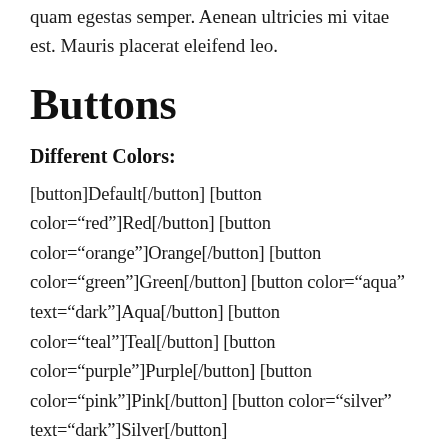quam egestas semper. Aenean ultricies mi vitae est. Mauris placerat eleifend leo.
Buttons
Different Colors:
[button]Default[/button] [button color="red"]Red[/button] [button color="orange"]Orange[/button] [button color="green"]Green[/button] [button color="aqua" text="dark"]Aqua[/button] [button color="teal"]Teal[/button] [button color="purple"]Purple[/button] [button color="pink"]Pink[/button] [button color="silver" text="dark"]Silver[/button]